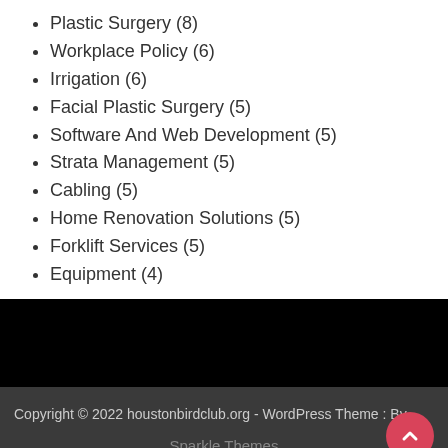Plastic Surgery (8)
Workplace Policy (6)
Irrigation (6)
Facial Plastic Surgery (5)
Software And Web Development (5)
Strata Management (5)
Cabling (5)
Home Renovation Solutions (5)
Forklift Services (5)
Equipment (4)
Copyright © 2022 houstonbirdclub.org - WordPress Theme : By Sparkle Themes